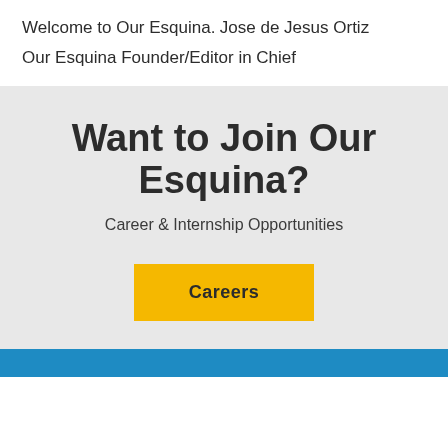Welcome to Our Esquina.
Jose de Jesus Ortiz
Our Esquina Founder/Editor in Chief
Want to Join Our Esquina?
Career & Internship Opportunities
Careers